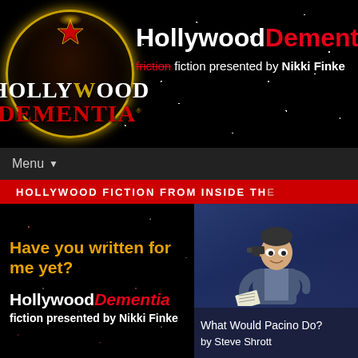[Figure (logo): Hollywood Dementia circular logo with gold border and star on black starfield background]
HollywoodDementia.com
friction fiction presented by Nikki Finke
Menu
HOLLYWOOD FICTION FROM INSIDE THE
Have you written for me yet?
HollywoodDementia fiction presented by Nikki Finke
[Figure (illustration): Cartoon illustration of a man holding a gun to his head and reading papers, blue-toned background]
What Would Pacino Do? by Steve Shrott